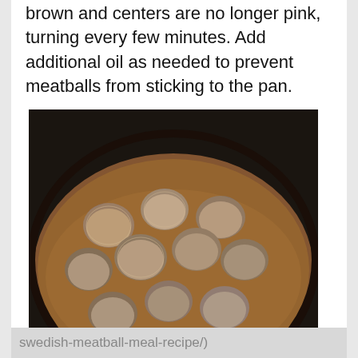brown and centers are no longer pink, turning every few minutes. Add additional oil as needed to prevent meatballs from sticking to the pan.
[Figure (photo): Photo of meatballs cooking in a pan, viewed from above. The meatballs appear coated and are frying in oil in a copper/brown pan.]
4. Serve with lingonberry jam and homemade cream sauce. (You'll find my recipe here: https://nashvillewife.com/ikea-style-swedish-meatball-meal-recipe/)
swedish-meatball-meal-recipe/)